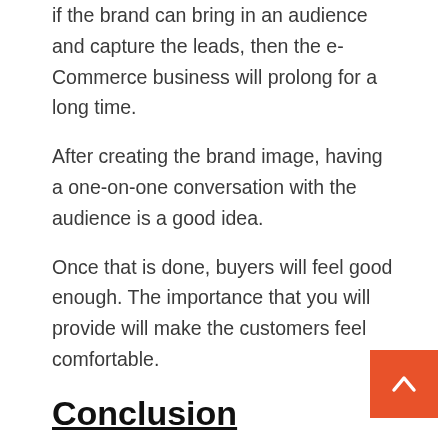if the brand can bring in an audience and capture the leads, then the e-Commerce business will prolong for a long time.
After creating the brand image, having a one-on-one conversation with the audience is a good idea.
Once that is done, buyers will feel good enough. The importance that you will provide will make the customers feel comfortable.
Conclusion
The digital world is growing daily. Every bit of it has to throw and distributed in the world. The advantages and benefits of it are never-ending.
Therefore the above list talks about the various benefits of digital marketing in eCommerce. Daily we get new and